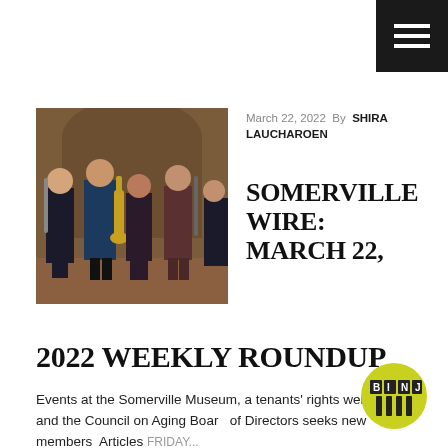[Figure (other): Hamburger menu icon (three horizontal white lines on black background) in top-right corner]
[Figure (photo): Group of young musicians standing in a hall, some holding instruments including saxophone and clarinet, wearing formal/smart casual attire]
March 22, 2022  By  SHIRA LAUCHAROEN
SOMERVILLE WIRE: MARCH 22, 2022 WEEKLY ROUNDUP
Events at the Somerville Museum, a tenants' rights webinar, and the Council on Aging Board of Directors seeks new members Articles FRIDAY...
[Figure (logo): BINJ circular logo — yellow-green circle with 'BINJ' text on dark tiles and vertical pin/bar shapes below]